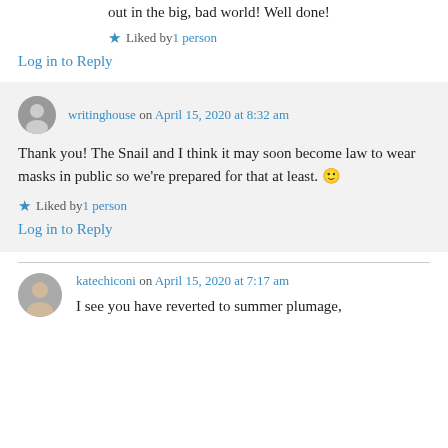out in the big, bad world! Well done!
★ Liked by 1 person
Log in to Reply
writinghouse on April 15, 2020 at 8:32 am
Thank you! The Snail and I think it may soon become law to wear masks in public so we're prepared for that at least. 🙂
★ Liked by 1 person
Log in to Reply
katechiconi on April 15, 2020 at 7:17 am
I see you have reverted to summer plumage,